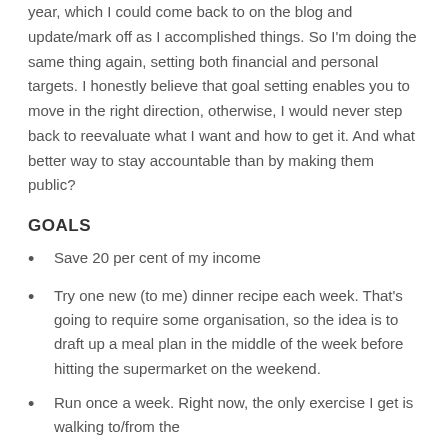year, which I could come back to on the blog and update/mark off as I accomplished things. So I'm doing the same thing again, setting both financial and personal targets. I honestly believe that goal setting enables you to move in the right direction, otherwise, I would never step back to reevaluate what I want and how to get it. And what better way to stay accountable than by making them public?
GOALS
Save 20 per cent of my income
Try one new (to me) dinner recipe each week. That's going to require some organisation, so the idea is to draft up a meal plan in the middle of the week before hitting the supermarket on the weekend.
Run once a week. Right now, the only exercise I get is walking to/from the